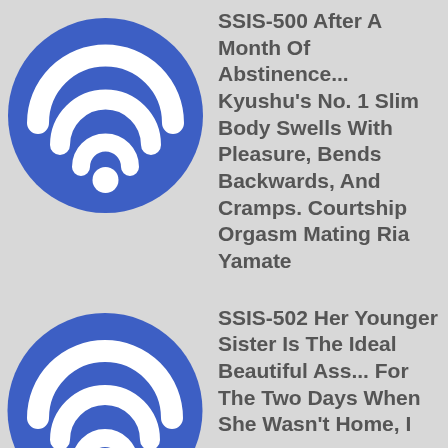[Figure (logo): Blue circle with white WiFi signal icon (Spotify-style logo)]
SSIS-500 After A Month Of Abstinence... Kyushu's No. 1 Slim Body Swells With Pleasure, Bends Backwards, And Cramps. Courtship Orgasm Mating Ria Yamate
[Figure (logo): Blue circle with white WiFi signal icon (Spotify-style logo), partially cropped at bottom]
SSIS-502 Her Younger Sister Is The Ideal Beautiful Ass... For The Two Days When She Wasn't Home, I